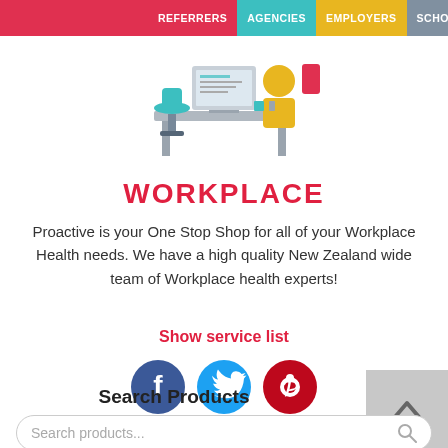REFERRERS | AGENCIES | EMPLOYERS | SCHOOLS/SPORTS
[Figure (illustration): Workplace illustration showing a desk with computer, office chair, and person silhouette in flat design style with teal, gray, and yellow colors.]
WORKPLACE
Proactive is your One Stop Shop for all of your Workplace Health needs. We have a high quality New Zealand wide team of Workplace health experts!
Show service list
[Figure (illustration): Social media icons: Facebook (blue circle with f), Twitter (cyan circle with bird), Pinterest (red circle with P).]
Search Products
Search products...